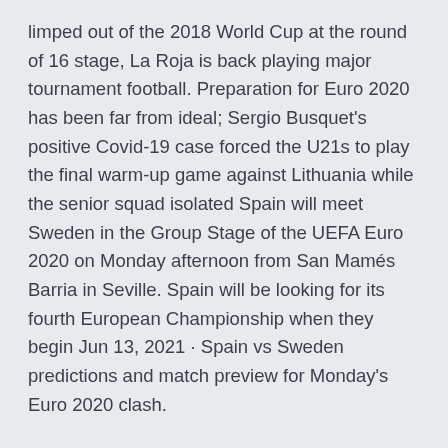limped out of the 2018 World Cup at the round of 16 stage, La Roja is back playing major tournament football. Preparation for Euro 2020 has been far from ideal; Sergio Busquet's positive Covid-19 case forced the U21s to play the final warm-up game against Lithuania while the senior squad isolated Spain will meet Sweden in the Group Stage of the UEFA Euro 2020 on Monday afternoon from San Mamés Barria in Seville. Spain will be looking for its fourth European Championship when they begin Jun 13, 2021 · Spain vs Sweden predictions and match preview for Monday's Euro 2020 clash.